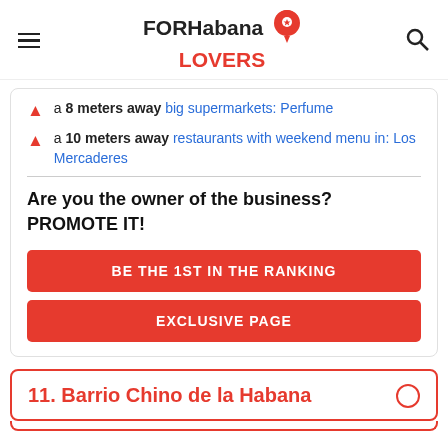FORHabana LOVERS
a 8 meters away big supermarkets: Perfume
a 10 meters away restaurants with weekend menu in: Los Mercaderes
Are you the owner of the business? PROMOTE IT!
BE THE 1ST IN THE RANKING
EXCLUSIVE PAGE
11. Barrio Chino de la Habana